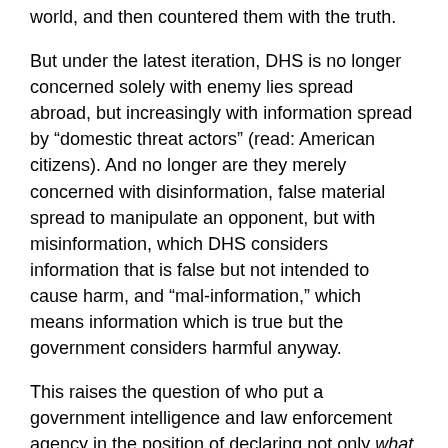world, and then countered them with the truth.
But under the latest iteration, DHS is no longer concerned solely with enemy lies spread abroad, but increasingly with information spread by “domestic threat actors” (read: American citizens). And no longer are they merely concerned with disinformation, false material spread to manipulate an opponent, but with misinformation, which DHS considers information that is false but not intended to cause harm, and “mal-information,” which means information which is true but the government considers harmful anyway.
This raises the question of who put a government intelligence and law enforcement agency in the position of declaring not only what is true or false but also determining whether information is good or harmful for consumption by free citizens. Of course, no law prohibits American citizens of spreading information of any kind, whether true or false.
Ironically, the DHS MDM effort itself is a result of